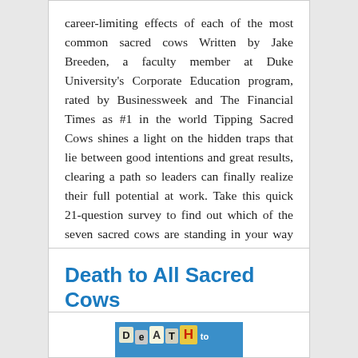career-limiting effects of each of the most common sacred cows Written by Jake Breeden, a faculty member at Duke University's Corporate Education program, rated by Businessweek and The Financial Times as #1 in the world Tipping Sacred Cows shines a light on the hidden traps that lie between good intentions and great results, clearing a path so leaders can finally realize their full potential at work. Take this quick 21-question survey to find out which of the seven sacred cows are standing in your way at work.
Death to All Sacred Cows
[Figure (illustration): Book cover for 'Death to All Sacred Cows' with ransom-note style lettering on a blue background]